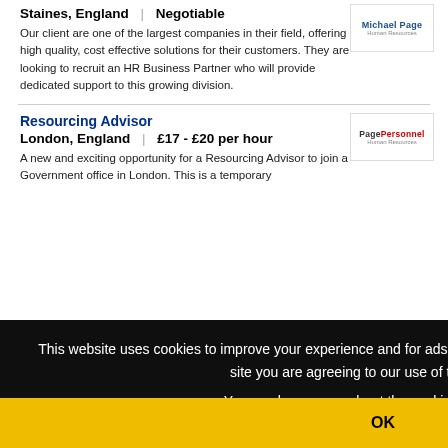Staines, England | Negotiable
Our client are one of the largest companies in their field, offering high quality, cost effective solutions for their customers. They are looking to recruit an HR Business Partner who will provide dedicated support to this growing division.
Resourcing Advisor
London, England | £17 - £20 per hour
A new and exciting opportunity for a Resourcing Advisor to join a Government office in London. This is a temporary
This website uses cookies to improve your experience and for ads personalisation. By continuing to browse this site you are agreeing to our use of these cookies.
You can learn more about the cookies we use here.
OK